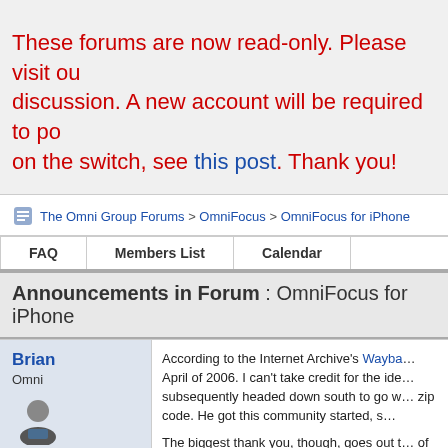These forums are now read-only. Please visit our new forums for discussion. A new account will be required to post there. For more info on the switch, see this post. Thank you!
The Omni Group Forums > OmniFocus > OmniFocus for iPhone
FAQ   Members List   Calendar
Announcements in Forum : OmniFocus for iPhone
Brian
Omni
2014-05-20 until 2106-02-05
According to the Internet Archive's Wayback Machine, this site started in April of 2006. I can't take credit for the idea, though. Whit Athey subsequently headed down south to go work somewhere with a different zip code. He got this community started, s

The biggest thank you, though, goes out to all of you who have spent lots of time on these forums, and in that time,